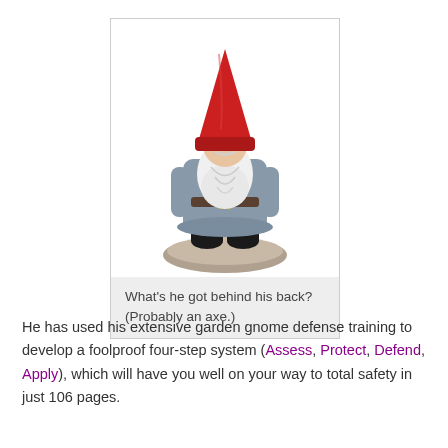[Figure (photo): A garden gnome figurine with a red pointed hat, white beard, blue coat, black boots, standing on a grey base. The gnome has its hands behind its back.]
What's he got behind his back? (Probably an axe.)
He has used his extensive garden gnome defense training to develop a foolproof four-step system (Assess, Protect, Defend, Apply), which will have you well on your way to total safety in just 106 pages.